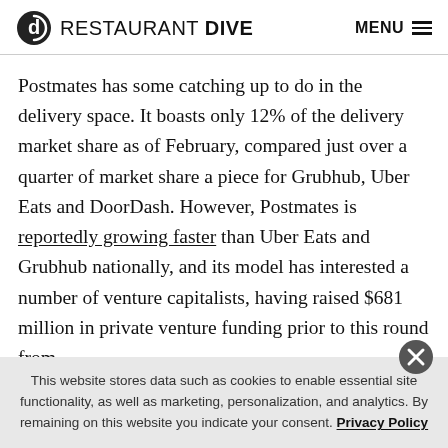RESTAURANT DIVE  MENU
Postmates has some catching up to do in the delivery space. It boasts only 12% of the delivery market share as of February, compared just over a quarter of market share a piece for Grubhub, Uber Eats and DoorDash. However, Postmates is reportedly growing faster than Uber Eats and Grubhub nationally, and its model has interested a number of venture capitalists, having raised $681 million in private venture funding prior to this round from CBL according to Pitchbook.
This website stores data such as cookies to enable essential site functionality, as well as marketing, personalization, and analytics. By remaining on this website you indicate your consent. Privacy Policy